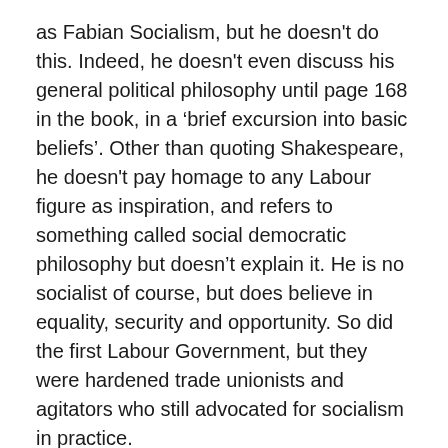as Fabian Socialism, but he doesn't do this. Indeed, he doesn't even discuss his general political philosophy until page 168 in the book, in a ‘brief excursion into basic beliefs’. Other than quoting Shakespeare, he doesn't pay homage to any Labour figure as inspiration, and refers to something called social democratic philosophy but doesn’t explain it. He is no socialist of course, but does believe in equality, security and opportunity. So did the first Labour Government, but they were hardened trade unionists and agitators who still advocated for socialism in practice.
The brief excursion into basic beliefs does come at an interesting stage of the book, however, just as Cullen discusses becoming finance spokesperson in the Labour rump that emerged from the 1990 landslide. Dr Cullen replaced the former finance minister, David Caygill, a man who was in the same ideological mould but is